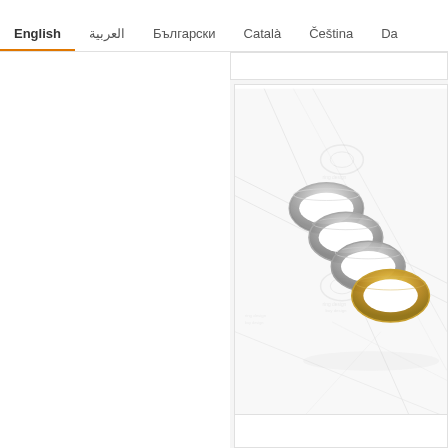English | العربية | Български | Català | Čeština | Da
[Figure (photo): Screenshot of a webpage showing a navigation bar with language options (English selected, العربية, Български, Català, Čeština, Da) and below a product image card containing multiple silver/white gold wedding bands arranged diagonally on a light background with a faint logo watermark.]